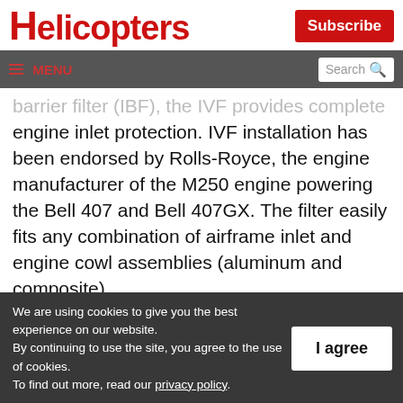HELICOPTERS
Subscribe
≡ MENU  Search
barrier filter (IBF), the IVF provides complete engine inlet protection. IVF installation has been endorsed by Rolls-Royce, the engine manufacturer of the M250 engine powering the Bell 407 and Bell 407GX. The filter easily fits any combination of airframe inlet and engine cowl assemblies (aluminum and composite)
We are using cookies to give you the best experience on our website.
By continuing to use the site, you agree to the use of cookies.
To find out more, read our privacy policy.
I agree